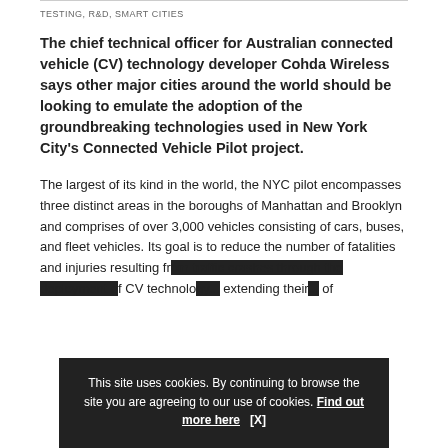TESTING, R&D, SMART CITIES
The chief technical officer for Australian connected vehicle (CV) technology developer Cohda Wireless says other major cities around the world should be looking to emulate the adoption of the groundbreaking technologies used in New York City's Connected Vehicle Pilot project.
The largest of its kind in the world, the NYC pilot encompasses three distinct areas in the boroughs of Manhattan and Brooklyn and comprises of over 3,000 vehicles consisting of cars, buses, and fleet vehicles. Its goal is to reduce the number of fatalities and injuries resulting from traffic crashes through the deployment of CV technolo... extending their ... of
This site uses cookies. By continuing to browse the site you are agreeing to our use of cookies. Find out more here [X]